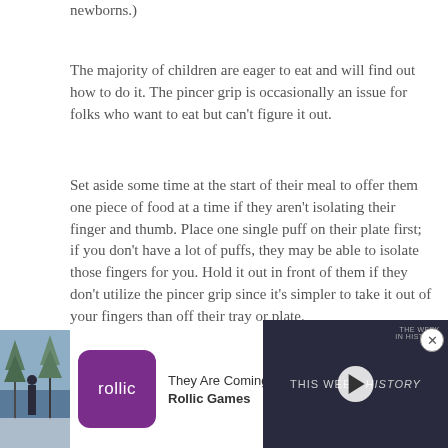newborns.)
The majority of children are eager to eat and will find out how to do it. The pincer grip is occasionally an issue for folks who want to eat but can't figure it out.
Set aside some time at the start of their meal to offer them one piece of food at a time if they aren't isolating their finger and thumb. Place one single puff on their plate first; if you don't have a lot of puffs, they may be able to isolate those fingers for you. Hold it out in front of them if they don't utilize the pincer grip since it's simpler to take it out of your fingers than off their tray or plate.
[Figure (screenshot): Advertisement for Rollic Games showing 'They Are Coming!' app with purple logo]
[Figure (screenshot): Video player overlay showing 'THIS WEEK IN HISTORY' with play button on dark background]